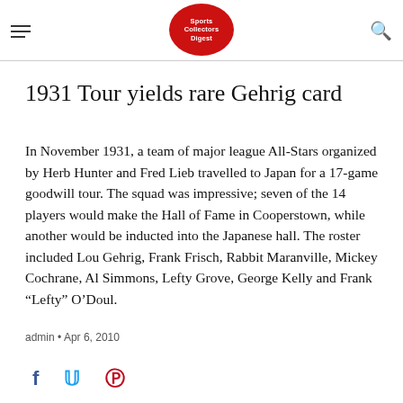Sports Collectors Digest
1931 Tour yields rare Gehrig card
In November 1931, a team of major league All-Stars organized by Herb Hunter and Fred Lieb travelled to Japan for a 17-game goodwill tour. The squad was impressive; seven of the 14 players would make the Hall of Fame in Cooperstown, while another would be inducted into the Japanese hall. The roster included Lou Gehrig, Frank Frisch, Rabbit Maranville, Mickey Cochrane, Al Simmons, Lefty Grove, George Kelly and Frank “Lefty” O’Doul.
admin • Apr 6, 2010